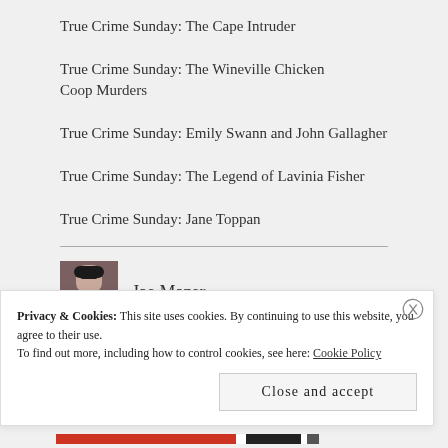True Crime Sunday: The Cape Intruder
True Crime Sunday: The Wineville Chicken Coop Murders
True Crime Sunday: Emily Swann and John Gallagher
True Crime Sunday: The Legend of Lavinia Fisher
True Crime Sunday: Jane Toppan
[Figure (photo): Author photo of Jae Mazer]
Jae Mazer
[Figure (photo): Second author photo]
Privacy & Cookies: This site uses cookies. By continuing to use this website, you agree to their use.
To find out more, including how to control cookies, see here: Cookie Policy
Close and accept